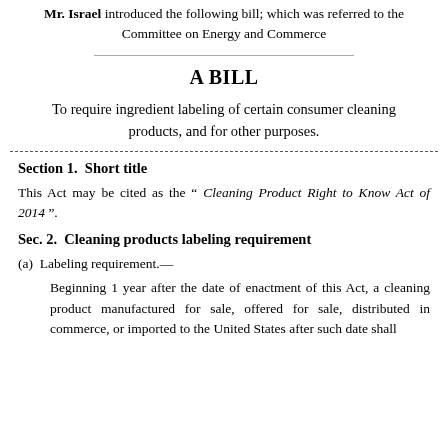Mr. Israel introduced the following bill; which was referred to the Committee on Energy and Commerce
A BILL
To require ingredient labeling of certain consumer cleaning products, and for other purposes.
Section 1.  Short title
This Act may be cited as the “ Cleaning Product Right to Know Act of 2014 ”.
Sec. 2.  Cleaning products labeling requirement
(a)  Labeling requirement.—
Beginning 1 year after the date of enactment of this Act, a cleaning product manufactured for sale, offered for sale, distributed in commerce, or imported to the United States after such date shall